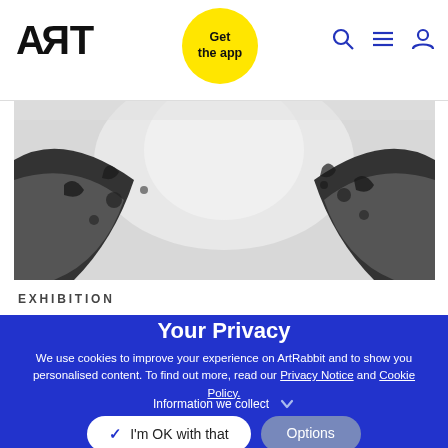ART (logo) | Get the app | Search | Menu | Account
[Figure (photo): Black and white close-up photograph of an artwork or sculpture with light and dark contrasting areas]
EXHIBITION
Your Privacy
We use cookies to improve your experience on ArtRabbit and to show you personalised content. To find out more, read our Privacy Notice and Cookie Policy.
Information we collect
I'm OK with that
Options